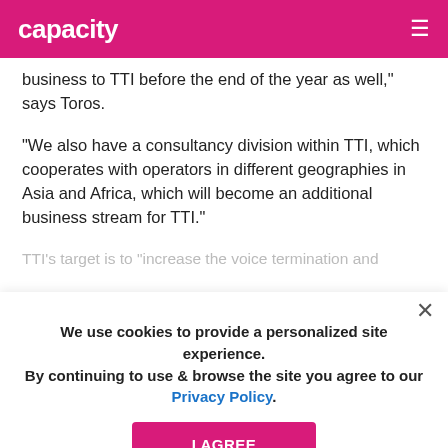capacity
business to TTI before the end of the year as well," says Toros.
"We also have a consultancy division within TTI, which cooperates with operators in different geographies in Asia and Africa, which will become an additional business stream for TTI."
TTI's target is to "increase the voice termination and [obscured by cookie banner] increasing exponentially in data along with social media subscriptions, our data business is getting much more valuable and in [obscured] to focus on evolving".
We use cookies to provide a personalized site experience. By continuing to use & browse the site you agree to our Privacy Policy.